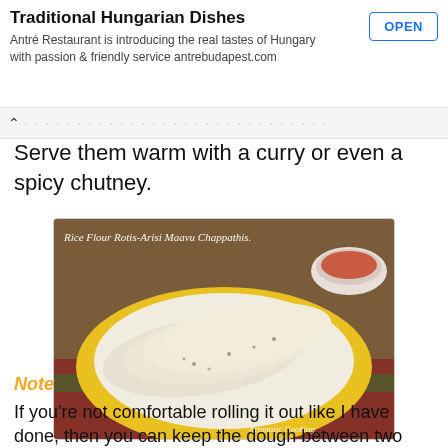Traditional Hungarian Dishes — Antré Restaurant is introducing the real tastes of Hungary with passion & friendly service antrebudapest.com — OPEN
Serve them warm with a curry or even a spicy chutney.
[Figure (photo): A yellow plate with folded rice flour rotis (Arisi Maavu Chappathis) arranged on it, placed on a colorful cloth. Text overlay reads: Rice Flour Rotis-Arisi Maavu Chappathis. Watermark: Aromatic Cooking.]
Note
If you're not comfortable rolling it out like I have done, then you can keep the dough between two greased plastic sheets